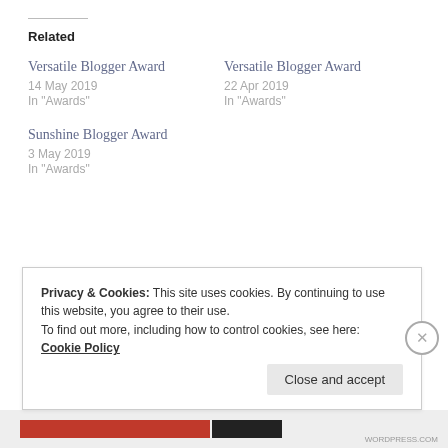Related
Versatile Blogger Award
14 May 2019
In "Awards"
Versatile Blogger Award
22 Apr 2019
In "Awards"
Sunshine Blogger Award
3 May 2019
In "Awards"
Privacy & Cookies: This site uses cookies. By continuing to use this website, you agree to their use.
To find out more, including how to control cookies, see here: Cookie Policy
Close and accept